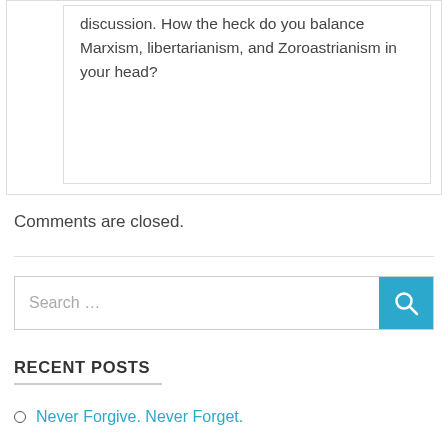discussion. How the heck do you balance Marxism, libertarianism, and Zoroastrianism in your head?
Comments are closed.
Search …
RECENT POSTS
Never Forgive. Never Forget.